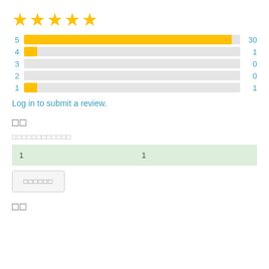[Figure (bar-chart): Star ratings distribution]
Log in to submit a review.
□□
□□□□□□□□□□□□
| 1 | 1 |
□□□□□□
□□